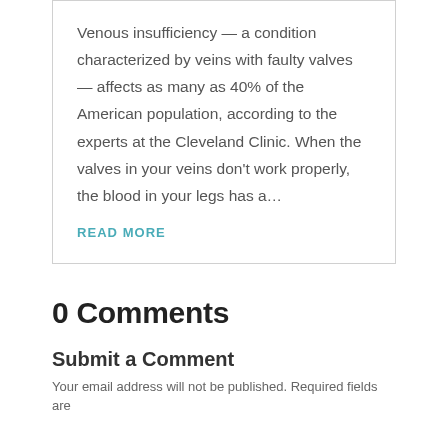Venous insufficiency — a condition characterized by veins with faulty valves — affects as many as 40% of the American population, according to the experts at the Cleveland Clinic. When the valves in your veins don't work properly, the blood in your legs has a…
READ MORE
0 Comments
Submit a Comment
Your email address will not be published. Required fields are